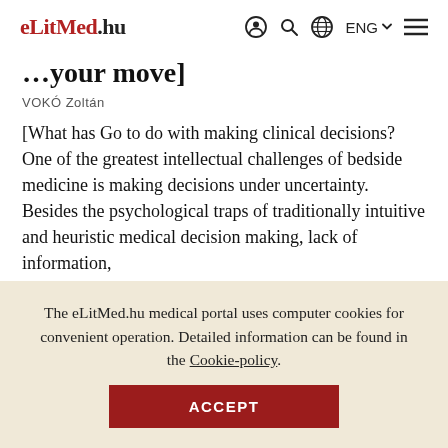eLitMed.hu — ENG navigation header
…your move]
VOKÓ Zoltán
[What has Go to do with making clinical decisions? One of the greatest intellectual challenges of bedside medicine is making decisions under uncertainty. Besides the psychological traps of traditionally intuitive and heuristic medical decision making, lack of information,
The eLitMed.hu medical portal uses computer cookies for convenient operation. Detailed information can be found in the Cookie-policy.
ACCEPT